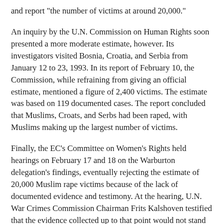and report "the number of victims at around 20,000."
An inquiry by the U.N. Commission on Human Rights soon presented a more moderate estimate, however. Its investigators visited Bosnia, Croatia, and Serbia from January 12 to 23, 1993. In its report of February 10, the Commission, while refraining from giving an official estimate, mentioned a figure of 2,400 victims. The estimate was based on 119 documented cases. The report concluded that Muslims, Croats, and Serbs had been raped, with Muslims making up the largest number of victims.
Finally, the EC's Committee on Women's Rights held hearings on February 17 and 18 on the Warburton delegation's findings, eventually rejecting the estimate of 20,000 Muslim rape victims because of the lack of documented evidence and testimony. At the hearing, U.N. War Crimes Commission Chairman Frits Kalshoven testified that the evidence collected up to that point would not stand up as proof in a court. Similarly, representatives from the U.N. High Commissioner for Refugees concluded that not enough independent evidence could be found, while Amnesty International and the International Committee of the Red Cross concurrently declared that all sides were committing atrocities and rape.
The resulting handful of rape-produced births also clearly contradicts claims of waves of systematic rape-induced